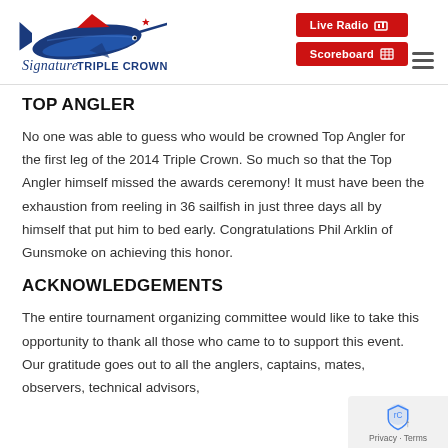[Figure (logo): Signature Triple Crown logo with marlin fish graphic and stylized text, alongside red navigation buttons for Live Radio and Scoreboard, and a hamburger menu icon]
TOP ANGLER
No one was able to guess who would be crowned Top Angler for the first leg of the 2014 Triple Crown. So much so that the Top Angler himself missed the awards ceremony! It must have been the exhaustion from reeling in 36 sailfish in just three days all by himself that put him to bed early. Congratulations Phil Arklin of Gunsmoke on achieving this honor.
ACKNOWLEDGEMENTS
The entire tournament organizing committee would like to take this opportunity to thank all those who came to to support this event. Our gratitude goes out to all the anglers, captains, mates, observers, technical advisors,